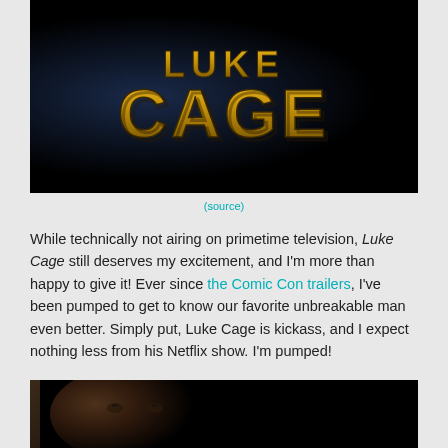[Figure (photo): Luke Cage TV show logo on dark background — stylized gold 3D block letters spelling LUKE CAGE]
(source)
While technically not airing on primetime television, Luke Cage still deserves my excitement, and I'm more than happy to give it! Ever since the Comic Con trailers, I've been pumped to get to know our favorite unbreakable man even better. Simply put, Luke Cage is kickass, and I expect nothing less from his Netflix show. I'm pumped!
[Figure (photo): Close-up dark photo of a man's face, partially lit, against a very dark background]